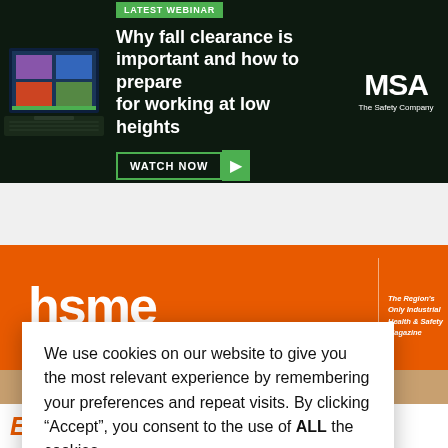[Figure (screenshot): MSA Safety Company advertisement banner. Green 'LATEST WEBINAR' badge. Text: 'Why fall clearance is important and how to prepare for working at low heights'. Green WATCH NOW button with play icon. MSA The Safety Company logo. Laptop image on left.]
[Figure (logo): HSME - Health & Safety Middle East logo in white on orange background. Tagline: 'The Region's Only Industrial Health & Safety Magazine']
We use cookies on our website to give you the most relevant experience by remembering your preferences and repeat visits. By clicking “Accept”, you consent to the use of ALL the cookies.
Cookie settings
ACCEPT
Entry into Confined Spaces